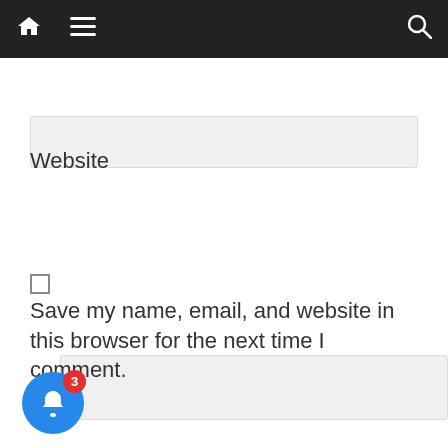[Figure (screenshot): Dark navigation bar with home icon, hamburger menu icon, and search icon]
[Figure (screenshot): Light grey input text box (top, partially visible)]
Website
[Figure (screenshot): Light grey input text box for Website field]
Save my name, email, and website in this browser for the next time I comment.
[Figure (screenshot): Post Comment button (teal/blue) partially visible]
[Figure (screenshot): Notification bell icon with badge showing 3 notifications, and a toast popup 'Building a resilient IT organization – 35 minutes ago']